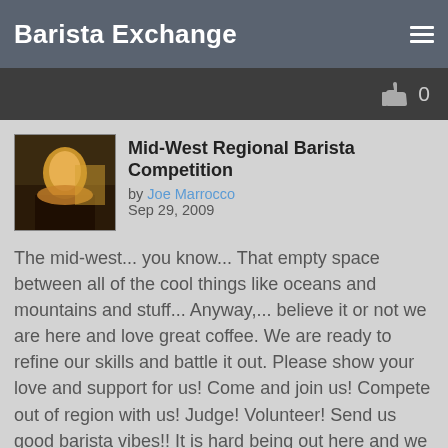Barista Exchange
Mid-West Regional Barista Competition
by Joe Marrocco
Sep 29, 2009
The mid-west... you know... That empty space between all of the cool things like oceans and mountains and stuff... Anyway,... believe it or not we are here and love great coffee. We are ready to refine our skills and battle it out. Please show your love and support for us! Come and join us! Compete out of region with us! Judge! Volunteer! Send us good barista vibes!! It is hard being out here and we would love to have some encouragement. Yeah, yeah, yeah,... the Western Region is cool and all. Sure, the Northwest has that tight coffee community thing going. The Great Lakes are great and all. The South and South West are OOOoooozing with hospitality. Atlantic